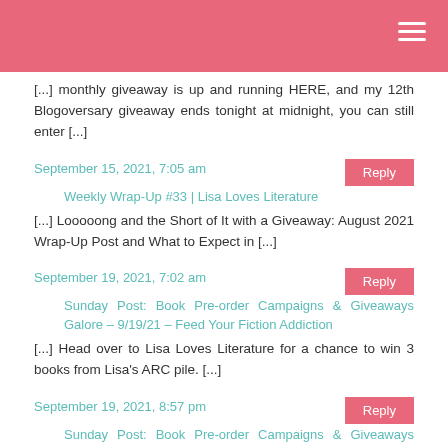[...] monthly giveaway is up and running HERE, and my 12th Blogoversary giveaway ends tonight at midnight, you can still enter [...]
September 15, 2021, 7:05 am
Weekly Wrap-Up #33 | Lisa Loves Literature
[...] Looooong and the Short of It with a Giveaway: August 2021 Wrap-Up Post and What to Expect in [...]
September 19, 2021, 7:02 am
Sunday Post: Book Pre-order Campaigns & Giveaways Galore – 9/19/21 – Feed Your Fiction Addiction
[...] Head over to Lisa Loves Literature for a chance to win 3 books from Lisa's ARC pile. [...]
September 19, 2021, 8:57 pm
Sunday Post: Book Pre-order Campaigns & Giveaways Galore – 9/19/21 – Book Library
[...] No One Had Sex, Hope Springs, and Lakesedge. Head over to